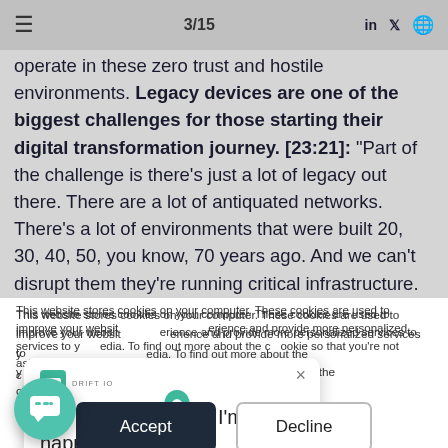3/15
operate in these zero trust and hostile environments. Legacy devices are one of the biggest challenges for those starting their digital transformation journey. [23:21]: "Part of the challenge is there's just a lot of legacy out there. There are a lot of antiquated networks. There's a lot of environments that were built 20, 30, 40, 50, you know, 70 years ago. And we can't disrupt them they're running critical infrastructure. So we have to overlay this on top of an existing running operation and then provide those added capabilities in
This website stores cookies on your computer. These cookies are used to improve your website experience and provide more personalized services to you, including on social media. To find out more about the cookies we use, see our Privacy Policy. We won't track your information when you visit our site. But in order to comply with your preferences, we'll have to use just one tiny cookie so that you're not asked to make this choice again.
Got any questions? I'm happy to help.
Accept
Decline